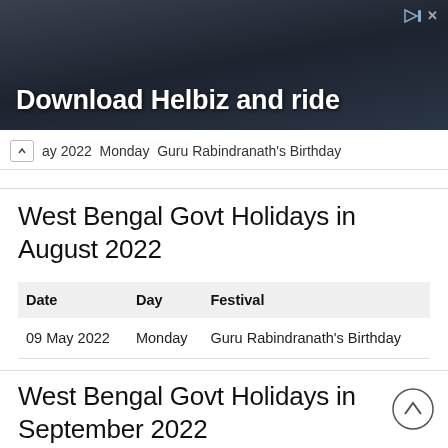[Figure (photo): Advertisement banner with dark background showing 'Download Helbiz and ride' text with a person in the background]
ay 2022  Monday  Guru Rabindranath's Birthday
West Bengal Govt Holidays in August 2022
| Date | Day | Festival |
| --- | --- | --- |
| 09 May 2022 | Monday | Guru Rabindranath's Birthday |
West Bengal Govt Holidays in September 2022